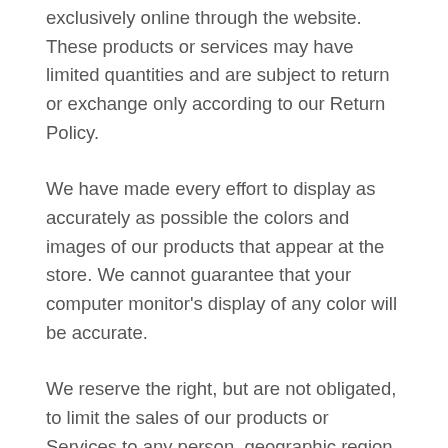exclusively online through the website. These products or services may have limited quantities and are subject to return or exchange only according to our Return Policy.
We have made every effort to display as accurately as possible the colors and images of our products that appear at the store. We cannot guarantee that your computer monitor's display of any color will be accurate.
We reserve the right, but are not obligated, to limit the sales of our products or Services to any person, geographic region or jurisdiction. We may exercise this right on a case-by-case basis. We reserve the right to limit the quantities of any products or services that we offer. All descriptions of products or product pricing are subject to change at anytime without notice, at the sole discretion of us. We reserve the right to discontinue any product at any